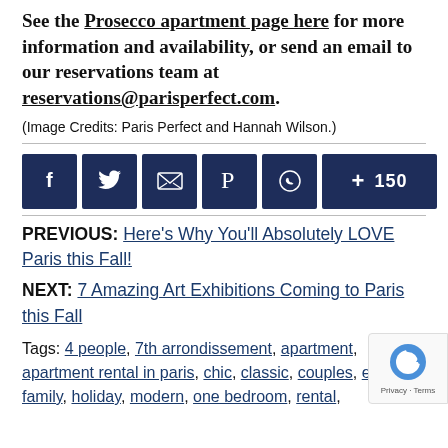See the Prosecco apartment page here for more information and availability, or send an email to our reservations team at reservations@parisperfect.com.
(Image Credits: Paris Perfect and Hannah Wilson.)
[Figure (other): Social share buttons: Facebook, Twitter, Email, Pinterest, WhatsApp, +150]
PREVIOUS: Here's Why You'll Absolutely LOVE Paris this Fall!
NEXT: 7 Amazing Art Exhibitions Coming to Paris this Fall
Tags: 4 people, 7th arrondissement, apartment, apartment rental in paris, chic, classic, couples, elegant, family, holiday, modern, one bedroom, rental,
[Figure (other): reCAPTCHA badge with Privacy · Terms]